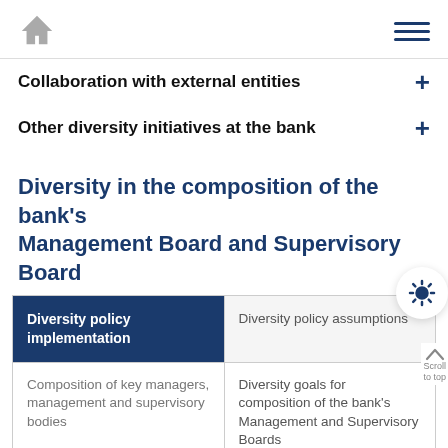Home | Menu
Collaboration with external entities +
Other diversity initiatives at the bank +
Diversity in the composition of the bank's Management Board and Supervisory Board
| Diversity policy implementation | Diversity policy assumptions |
| --- | --- |
| Composition of key managers, management and supervisory bodies | Diversity goals for composition of the bank's Management and Supervisory Boards |
Scroll to top